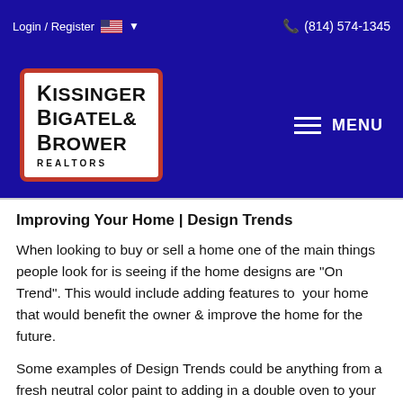Login / Register  (814) 574-1345
[Figure (logo): Kissinger Bigatel & Brower Realtors logo in white box with red border, on dark blue background with MENU hamburger icon]
Improving Your Home | Design Trends
When looking to buy or sell a home one of the main things people look for is seeing if the home designs are "On Trend". This would include adding features to your home that would benefit the owner & improve the home for the future.
Some examples of Design Trends could be anything from a fresh neutral color paint to adding in a double oven to your kitchen or custom countertop.